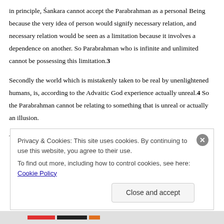in principle, Śankara cannot accept the Parabrahman as a personal Being because the very idea of person would signify necessary relation, and necessary relation would be seen as a limitation because it involves a dependence on another. So Parabrahman who is infinite and unlimited cannot be possessing this limitation.3
Secondly the world which is mistakenly taken to be real by unenlightened humans, is, according to the Advaitic God experience actually unreal.4 So the Parabrahman cannot be relating to something that is unreal or actually an illusion.
Thirdly, Śankara takes the Parabrahman to be one-only-without-a-second
Privacy & Cookies: This site uses cookies. By continuing to use this website, you agree to their use.
To find out more, including how to control cookies, see here: Cookie Policy